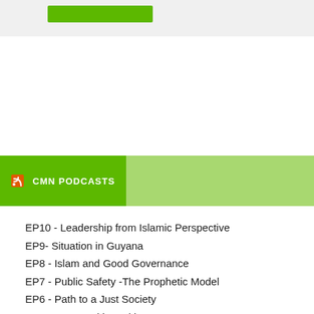[Figure (other): Green button/banner at top of page]
CMN PODCASTS
EP10 - Leadership from Islamic Perspective
EP9- Situation in Guyana
EP8 - Islam and Good Governance
EP7 - Public Safety -The Prophetic Model
EP6 - Path to a Just Society
EP5 - Communities With Purpose
EP4 - Eid ul Fitr 2020
EP3 - The Holy Qu'ran
EP2 - Ramadan
EP1 - Caring for the Sick